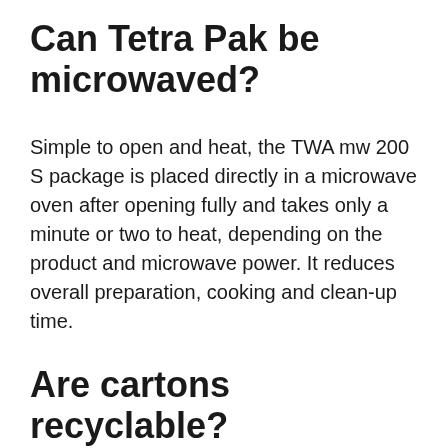Can Tetra Pak be microwaved?
Simple to open and heat, the TWA mw 200 S package is placed directly in a microwave oven after opening fully and takes only a minute or two to heat, depending on the product and microwave power. It reduces overall preparation, cooking and clean-up time.
Are cartons recyclable?
All the materials we use can be recycled. During the recycling process, baled cartons are dropped into a pulper filled with water, and the materials are separated into paperboard pulp and plastic and aluminum